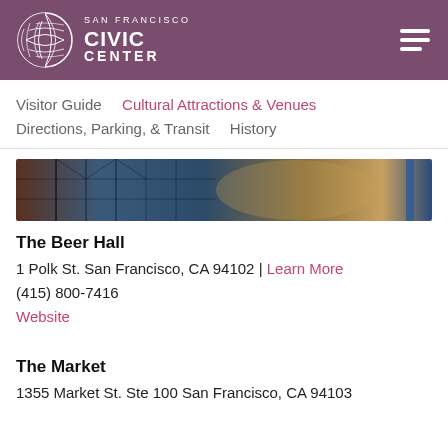SAN FRANCISCO CIVIC CENTER
Visitor Guide | Cultural Attractions & Venues | Directions, Parking, & Transit | History
[Figure (photo): Interior photo of a large hall with industrial scaffolding, metal structures, and warm ambient lighting — appears to be a bar or event space]
The Beer Hall
1 Polk St. San Francisco, CA 94102 | Learn More
(415) 800-7416
Website
The Market
1355 Market St. Ste 100 San Francisco, CA 94103